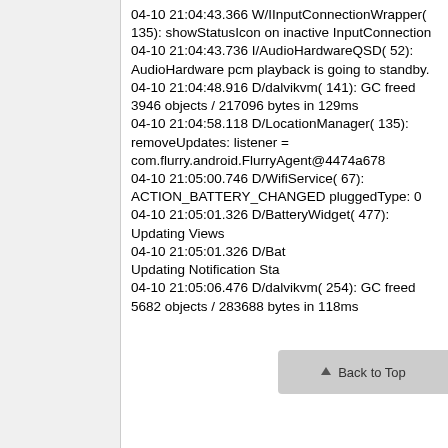04-10 21:04:43.366 W/IInputConnectionWrapper( 135): showStatusIcon on inactive InputConnection
04-10 21:04:43.736 I/AudioHardwareQSD( 52): AudioHardware pcm playback is going to standby.
04-10 21:04:48.916 D/dalvikvm( 141): GC freed 3946 objects / 217096 bytes in 129ms
04-10 21:04:58.118 D/LocationManager( 135): removeUpdates: listener = com.flurry.android.FlurryAgent@4474a678
04-10 21:05:00.746 D/WifiService( 67): ACTION_BATTERY_CHANGED pluggedType: 0
04-10 21:05:01.326 D/BatteryWidget( 477): Updating Views
04-10 21:05:01.326 D/Bat Updating Notification Sta
04-10 21:05:06.476 D/dalvikvm( 254): GC freed 5682 objects / 283688 bytes in 118ms